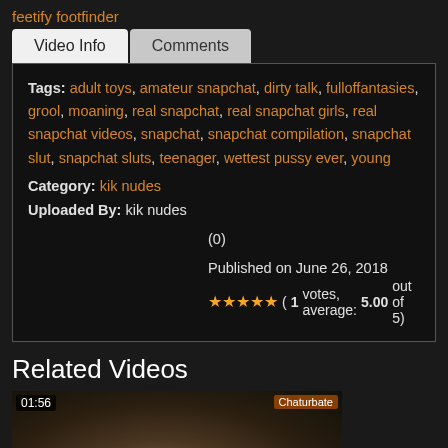feetify footfinder
Tags: adult toys, amateur snapchat, dirty talk, fulloffantasies, grool, moaning, real snapchat, real snapchat girls, real snapchat videos, snapchat, snapchat compilation, snapchat slut, snapchat sluts, teenager, wettest pussy ever, young
Category: kik nudes
Uploaded By: kik nudes
(0)
Published on June 26, 2018
★★★★★ (1 votes, average: 5.00 out of 5)
Related Videos
[Figure (screenshot): Video thumbnail showing blurred face, duration 01:56, with Chaturbate logo watermark]